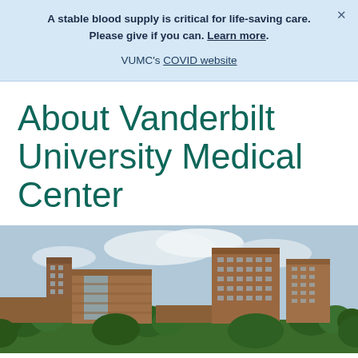A stable blood supply is critical for life-saving care. Please give if you can. Learn more. VUMC's COVID website
About Vanderbilt University Medical Center
[Figure (photo): Aerial/street view photograph of Vanderbilt University Medical Center campus buildings — large multi-story brick hospital buildings with trees in the foreground and a partly cloudy sky in the background.]